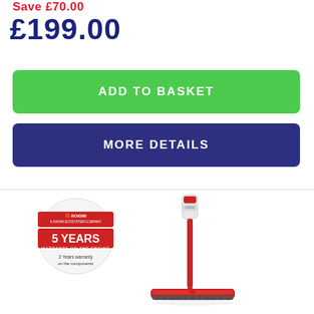Save £70.00
£199.00
ADD TO BASKET
MORE DETAILS
[Figure (photo): Roidmi brand warranty badge showing 5 Years Warranty on the Engine and 2 Years warranty on the components, along with a red and white cordless stick vacuum cleaner product image]